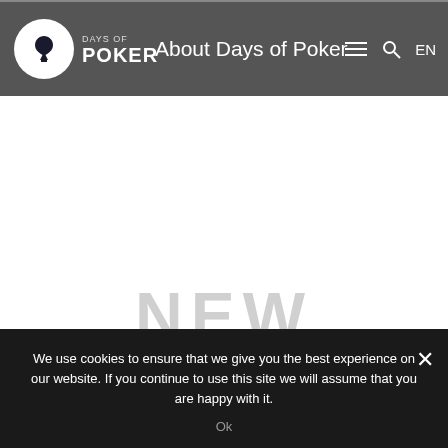Days of Poker — About Days of Poker
[Figure (logo): Days of Poker logo: white circle with black spade suit icon, text 'DAYS OF POKER' to the right]
About Days of Poker
NEW
TO
We use cookies to ensure that we give you the best experience on our website. If you continue to use this site we will assume that you are happy with it.
Ok